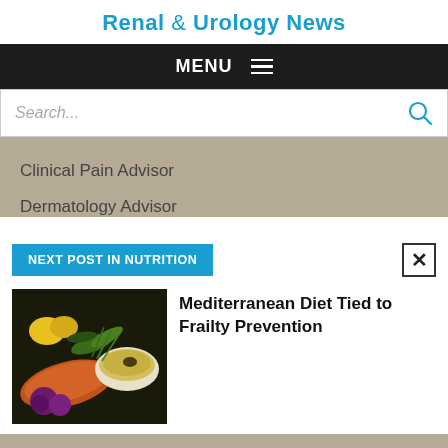Renal & Urology News
MENU
Search...
Clinical Pain Advisor
Dermatology Advisor
NEXT POST IN NUTRITION
[Figure (photo): Food photo showing Mediterranean diet items including salmon, yellow pepper, olive oil in a bowl, herbs, and purple onions on a dark background]
Mediterranean Diet Tied to Frailty Prevention
McKnight's Long Term Care News
McKnight's Senior Living